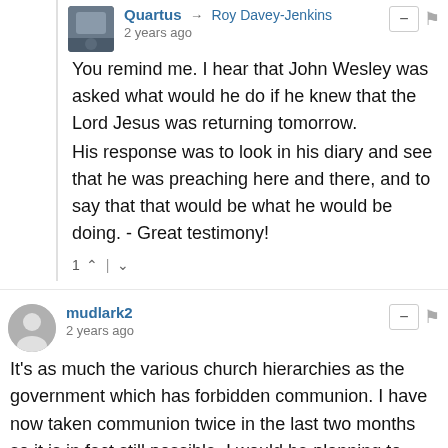Quartus → Roy Davey-Jenkins
2 years ago
You remind me. I hear that John Wesley was asked what would he do if he knew that the Lord Jesus was returning tomorrow.
His response was to look in his diary and see that he was preaching here and there, and to say that that would be what he would be doing. - Great testimony!
1 ↑ | ↓
mudlark2
2 years ago
It's as much the various church hierarchies as the government which has forbidden communion. I have now taken communion twice in the last two months so it is in fact still possible. I would be planning to take it again next month but for the fact that, despite having survived the last two visits to church, I am now required to wear a face mask. I won't be returning to church until that particular edict is revoked (if that ever happens). Meanwhile, the senior clergy are happy to kowtow to whatever absurd law the obese clown decides to introduce. Like the teachers, it means they will have endless leisure time while still drawing their salaries.